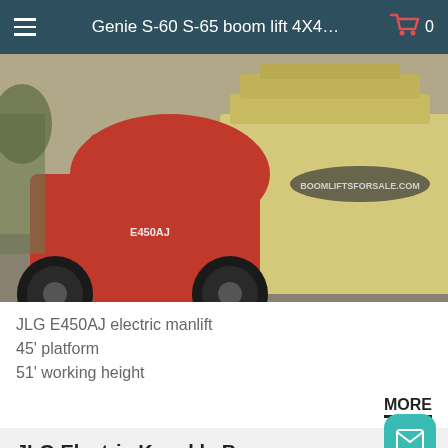Genie S-60 S-65 boom lift 4X4…
[Figure (photo): JLG E450AJ electric manlift — red articulating boom lift machine photographed outdoors with a tan/yellow large boom lift in background and a 'boomliftsforsale.com' watermark logo]
JLG E450AJ electric manlift
45' platform
51' working height
MORE
JLG Electric Knuckle Booms
[Figure (photo): Bottom portion of next product image showing blue sky and clouds]